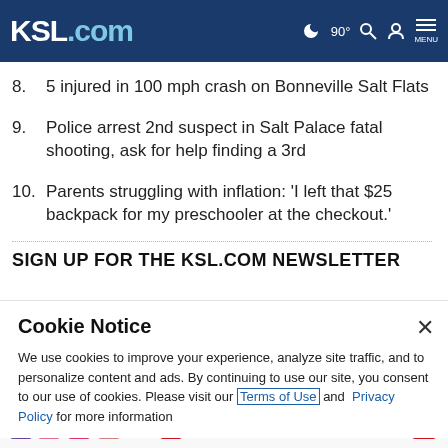KSL.com
8. 5 injured in 100 mph crash on Bonneville Salt Flats
9. Police arrest 2nd suspect in Salt Palace fatal shooting, ask for help finding a 3rd
10. Parents struggling with inflation: 'I left that $25 backpack for my preschooler at the checkout.'
SIGN UP FOR THE KSL.COM NEWSLETTER
Cookie Notice
We use cookies to improve your experience, analyze site traffic, and to personalize content and ads. By continuing to use our site, you consent to our use of cookies. Please visit our Terms of Use and Privacy Policy for more information
[Figure (photo): MAC cosmetics advertisement banner with lipsticks, MAC logo, and SHOP NOW button]